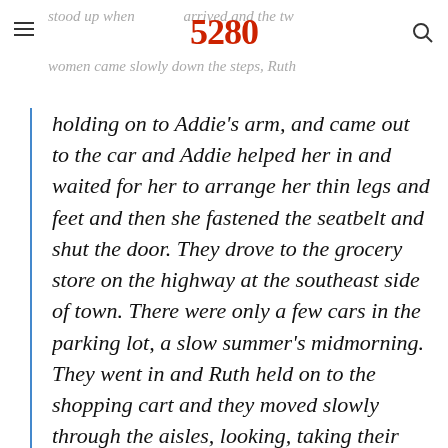stood up when 5280 arrived and the two women came slowly down the steps, Ruth
holding on to Addie's arm, and came out to the car and Addie helped her in and waited for her to arrange her thin legs and feet and then she fastened the seatbelt and shut the door. They drove to the grocery store on the highway at the southeast side of town. There were only a few cars in the parking lot, a slow summer's midmorning. They went in and Ruth held on to the shopping cart and they moved slowly through the aisles, looking, taking their time. She didn't want or need much, just cans or cartons of